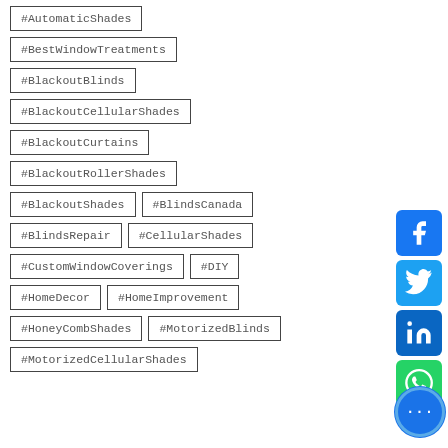#AutomaticShades
#BestWindowTreatments
#BlackoutBlinds
#BlackoutCellularShades
#BlackoutCurtains
#BlackoutRollerShades
#BlackoutShades
#BlindsCanada
#BlindsRepair
#CellularShades
#CustomWindowCoverings
#DIY
#HomeDecor
#HomeImprovement
#HoneyCombShades
#MotorizedBlinds
#MotorizedCellularShades